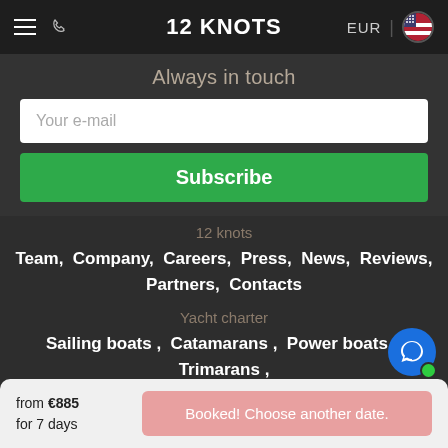12 KNOTS
Always in touch
Your e-mail
Subscribe
12 knots
Team, Company, Careers, Press, News, Reviews, Partners, Contacts
Yacht charter
Sailing boats, Catamarans, Power boats, Trimarans,
Gulets, Houseboats, Booking terms, Q&A
from €885 for 7 days
Booked! Choose another date.
Liveaboard couses, Shorebased courses,